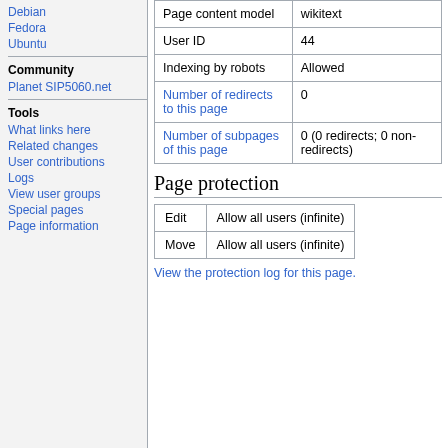Debian
Fedora
Ubuntu
Community
Planet SIP5060.net
Tools
What links here
Related changes
User contributions
Logs
View user groups
Special pages
Page information
|  |  |
| --- | --- |
| Page content model | wikitext |
| User ID | 44 |
| Indexing by robots | Allowed |
| Number of redirects to this page | 0 |
| Number of subpages of this page | 0 (0 redirects; 0 non-redirects) |
Page protection
| Edit | Move |
| --- | --- |
| Edit | Allow all users (infinite) |
| Move | Allow all users (infinite) |
View the protection log for this page.